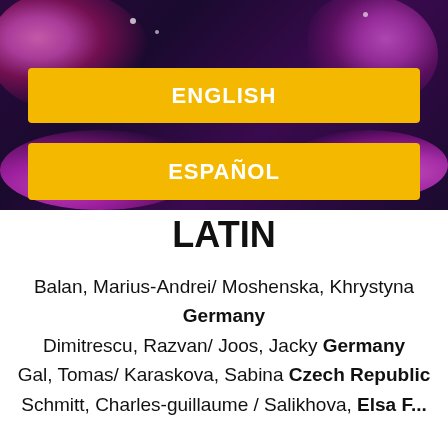[Figure (photo): Dark fantasy/floral decorative background image with purple and pink floral elements, with two yellow buttons overlaid: ENGLISH and ESPAÑOL]
LATIN
Balan, Marius-Andrei/ Moshenska, Khrystyna Germany
Dimitrescu, Razvan/ Joos, Jacky Germany
Gal, Tomas/ Karaskova, Sabina Czech Republic
Schmitt, Charles-guillaume / Salikhova, Elsa F...